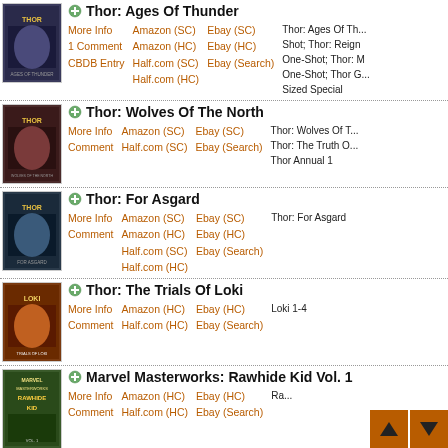Thor: Ages Of Thunder — More Info, 1 Comment, CBDB Entry, Amazon (SC), Amazon (HC), Half.com (SC), Half.com (HC), Ebay (SC), Ebay (HC), Ebay (Search). Related: Thor: Ages Of Thunder One-Shot; Thor: Reign Of Blood One-Shot; Thor: Man Of War One-Shot; Thor Giant-Sized Special
Thor: Wolves Of The North — More Info, Comment, Amazon (SC), Half.com (SC), Ebay (SC), Ebay (Search). Related: Thor: Wolves Of The North; Thor: The Truth Of History; Thor Annual 1
Thor: For Asgard — More Info, Comment, Amazon (SC), Amazon (HC), Half.com (SC), Half.com (HC), Ebay (SC), Ebay (HC), Ebay (Search). Related: Thor: For Asgard
Thor: The Trials Of Loki — More Info, Comment, Amazon (HC), Half.com (HC), Ebay (HC), Ebay (Search). Related: Loki 1-4
Marvel Masterworks: Rawhide Kid Vol. 1 — More Info, Comment, Amazon (HC), Half.com (HC), Ebay (HC), Ebay (Search). Related: Ra...